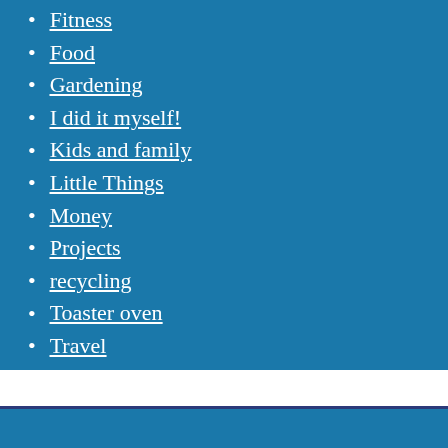Fitness
Food
Gardening
I did it myself!
Kids and family
Little Things
Money
Projects
recycling
Toaster oven
Travel
Uncategorized
Waste Not